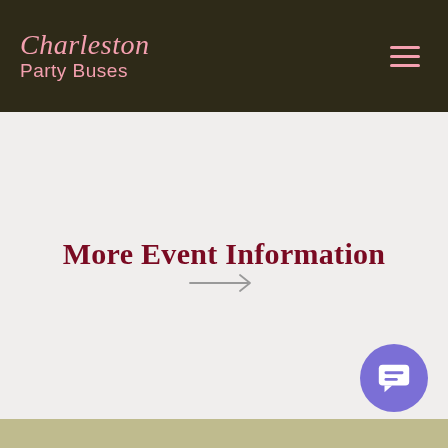Charleston Party Buses
More Event Information
[Figure (other): Right arrow icon pointing to the right, in gray color]
[Figure (other): Purple circular chat/messaging button with a speech bubble icon, positioned in bottom-right corner]